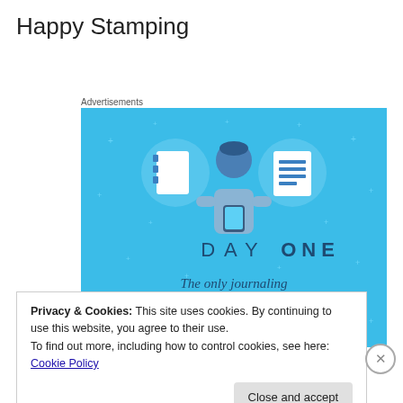Happy Stamping
Advertisements
[Figure (illustration): Day One app advertisement: blue background with illustration of a person holding a phone, flanked by two circular icons showing a notebook and a lined document. Text reads 'DAY ONE' and 'The only journaling app you'll ever need.']
Privacy & Cookies: This site uses cookies. By continuing to use this website, you agree to their use.
To find out more, including how to control cookies, see here: Cookie Policy
Close and accept